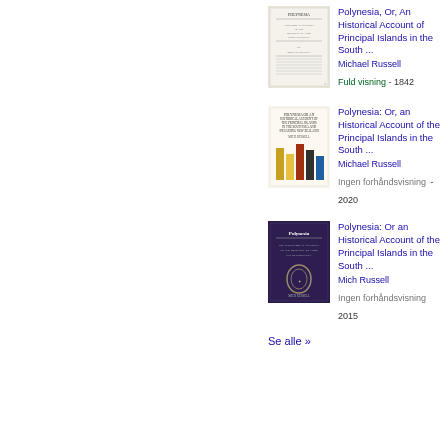[Figure (illustration): Book cover for Polynesia, Or, An Historical Account, 1842 edition - old text cover]
Polynesia, Or, An Historical Account of Principal Islands in the South ... Michael Russell Fuld visning - 1842
[Figure (illustration): Book cover for Polynesia: Or, an Historical Account, 2020 edition - colorful bars cover]
Polynesia: Or, an Historical Account of the Principal Islands in the South ... Michael Russell Ingen forhåndsvisning - 2020
[Figure (illustration): Book cover for Polynesia: Or an Historical Account, 2015 edition - dark purple cover]
Polynesia: Or an Historical Account of the Principal Islands in the South ... Mich Russell Ingen forhåndsvisning 2015
Se alle »